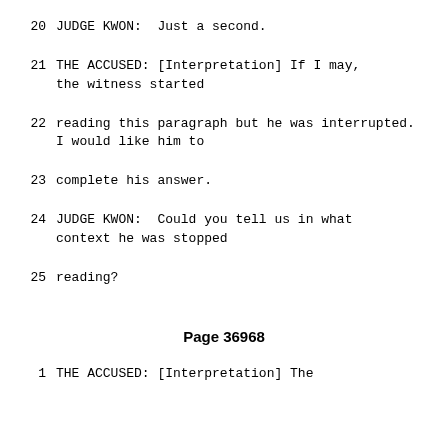20    JUDGE KWON:  Just a second.
21              THE ACCUSED: [Interpretation] If I may, the witness started
22      reading this paragraph but he was interrupted. I would like him to
23      complete his answer.
24              JUDGE KWON:  Could you tell us in what context he was stopped
25      reading?
Page 36968
1               THE ACCUSED: [Interpretation] The